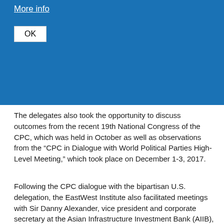More info
OK
The delegates also took the opportunity to discuss outcomes from the recent 19th National Congress of the CPC, which was held in October as well as observations from the “CPC in Dialogue with World Political Parties High-Level Meeting,” which took place on December 1-3, 2017.
Following the CPC dialogue with the bipartisan U.S. delegation, the EastWest Institute also facilitated meetings with Sir Danny Alexander, vice president and corporate secretary at the Asian Infrastructure Investment Bank (AIIB), to discuss the Belt and Road Initiative and AIIB’s commitment to raising the...